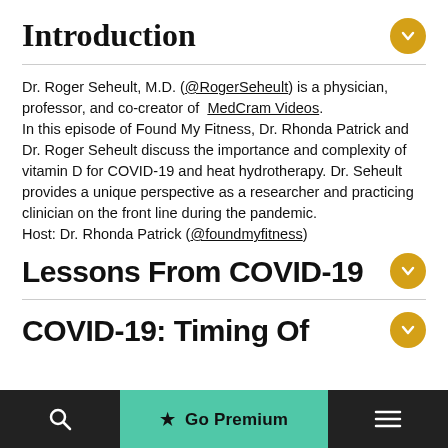Introduction
Dr. Roger Seheult, M.D. (@RogerSeheult) is a physician, professor, and co-creator of MedCram Videos.
In this episode of Found My Fitness, Dr. Rhonda Patrick and Dr. Roger Seheult discuss the importance and complexity of vitamin D for COVID-19 and heat hydrotherapy. Dr. Seheult provides a unique perspective as a researcher and practicing clinician on the front line during the pandemic.
Host: Dr. Rhonda Patrick (@foundmyfitness)
Lessons From COVID-19
COVID-19: Timing Of
★ Go Premium